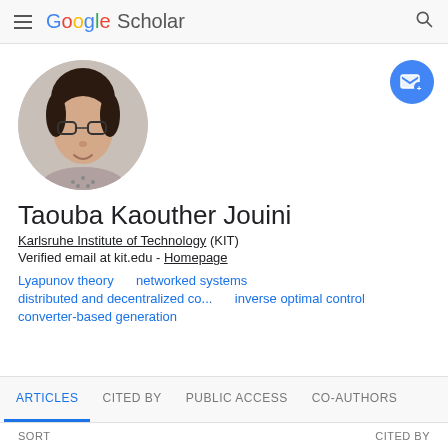Google Scholar
[Figure (photo): Circular profile photo of Taouba Kaouther Jouini, a woman with short dark hair and glasses, wearing a floral patterned top]
Taouba Kaouther Jouini
Karlsruhe Institute of Technology (KIT)
Verified email at kit.edu - Homepage
Lyapunov theory
networked systems
distributed and decentralized co...
inverse optimal control
converter-based generation
ARTICLES   CITED BY   PUBLIC ACCESS   CO-AUTHORS